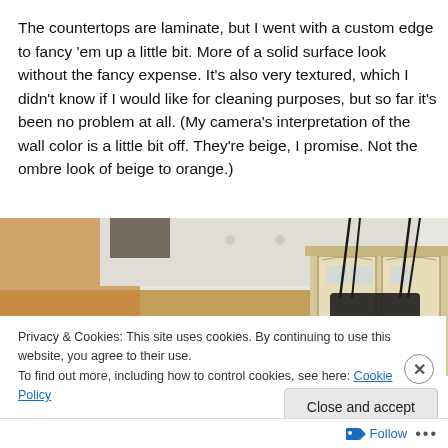The countertops are laminate, but I went with a custom edge to fancy 'em up a little bit. More of a solid surface look without the fancy expense. It's also very textured, which I didn't know if I would like for cleaning purposes, but so far it's been no problem at all. (My camera's interpretation of the wall color is a little bit off. They're beige, I promise. Not the ombre look of beige to orange.)
[Figure (photo): Interior kitchen photo showing hanging black metal chandelier/light fixture suspended from a white ceiling, cream/white cabinets visible at right, tan/orange walls in background]
Privacy & Cookies: This site uses cookies. By continuing to use this website, you agree to their use.
To find out more, including how to control cookies, see here: Cookie Policy
Close and accept
Follow